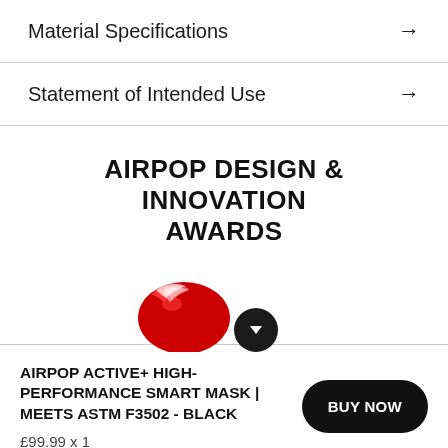Material Specifications →
Statement of Intended Use →
AIRPOP DESIGN & INNOVATION AWARDS
[Figure (logo): Red Dot Design Award logo — red and white swirled circular emblem, partially visible at bottom]
AIRPOP ACTIVE+ HIGH-PERFORMANCE SMART MASK | MEETS ASTM F3502 - BLACK
£99.99 x 1
BUY NOW